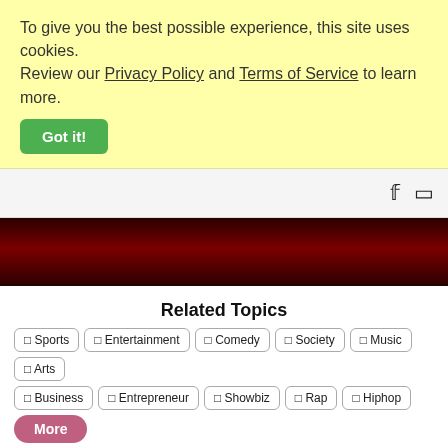To give you the best possible experience, this site uses cookies. Review our Privacy Policy and Terms of Service to learn more.
Got it!
[Figure (other): Navigation bar with search and menu icons]
[Figure (other): Dark red/maroon decorative banner]
Related Topics
Sports
Entertainment
Comedy
Society
Music
Arts
Business
Entrepreneur
Showbiz
Rap
Hiphop
More
show episodes
The Joe Budden Podcast